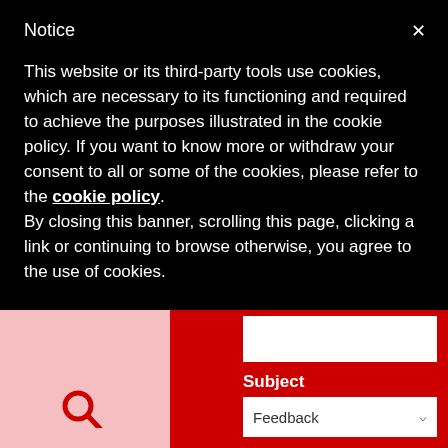Notice
This website or its third-party tools use cookies, which are necessary to its functioning and required to achieve the purposes illustrated in the cookie policy. If you want to know more or withdraw your consent to all or some of the cookies, please refer to the cookie policy.
By closing this banner, scrolling this page, clicking a link or continuing to browse otherwise, you agree to the use of cookies.
Subject
Feedback
Message